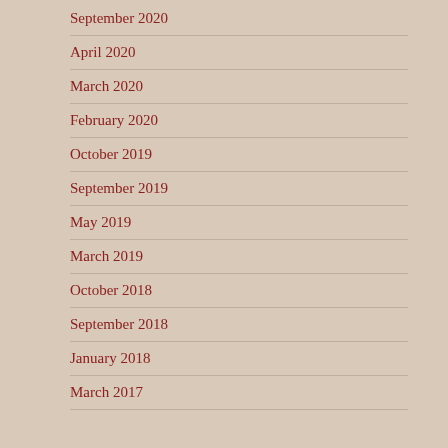September 2020
April 2020
March 2020
February 2020
October 2019
September 2019
May 2019
March 2019
October 2018
September 2018
January 2018
March 2017